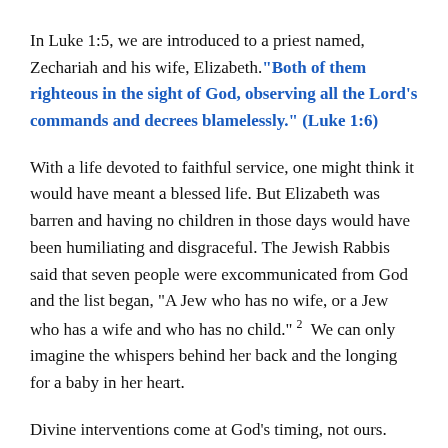In Luke 1:5, we are introduced to a priest named, Zechariah and his wife, Elizabeth.“Both of them righteous in the sight of God, observing all the Lord’s commands and decrees blamelessly.” (Luke 1:6)
With a life devoted to faithful service, one might think it would have meant a blessed life. But Elizabeth was barren and having no children in those days would have been humiliating and disgraceful. The Jewish Rabbis said that seven people were excommunicated from God and the list began, “A Jew who has no wife, or a Jew who has a wife and who has no child.” 2  We can only imagine the whispers behind her back and the longing for a baby in her heart.
Divine interventions come at God’s timing, not ours. When the time came for Zechariah’s division of priests to be on duty, Zechariah was chosen by lot to go into the inner